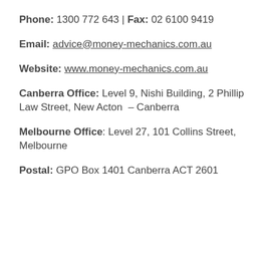Phone: 1300 772 643 | Fax: 02 6100 9419
Email: advice@money-mechanics.com.au
Website: www.money-mechanics.com.au
Canberra Office: Level 9, Nishi Building, 2 Phillip Law Street, New Acton – Canberra
Melbourne Office: Level 27, 101 Collins Street, Melbourne
Postal: GPO Box 1401 Canberra ACT 2601